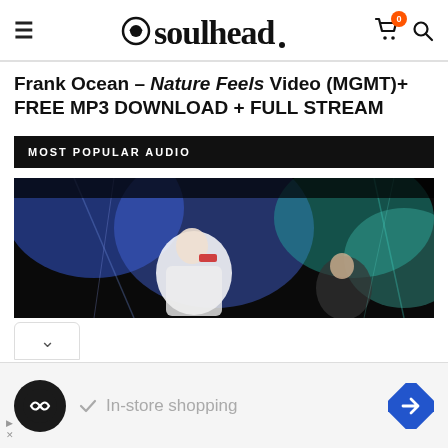soulhead.
Frank Ocean – Nature Feels Video (MGMT)+ FREE MP3 DOWNLOAD + FULL STREAM
MOST POPULAR AUDIO
[Figure (photo): Concert photo showing performers on stage with blue and green stage lighting]
[Figure (infographic): Advertisement bar with logo, In-store shopping text, and navigation arrow]